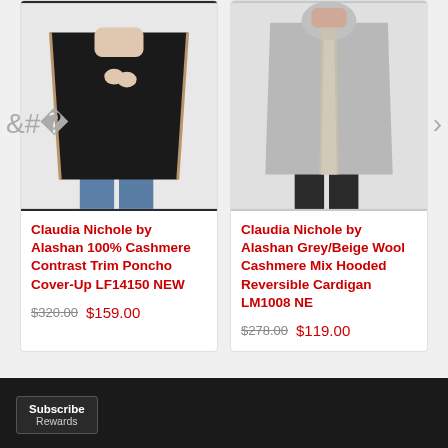[Figure (photo): Product image of a black cashmere contrast trim poncho cover-up worn by a model]
Claudia Nichole by Alashan 100% Cashmere Contrast Trim Poncho Cover-Up LF14150 NEW
$320.00  $159.00
[Figure (photo): Product image of a grey/beige wool cashmere mix hooded reversible cardigan worn by a model]
Claudia Nichole by Alashan Grey/Beige Wool Cashmere Mix Hooded Reversible Cardigan LM1008 NE
$278.00  $119.00
Subscribe
Rewards